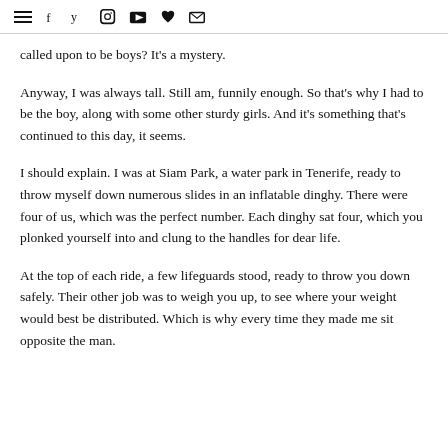☰ f 𝕥 📷 ▶ ♥ ✉
called upon to be boys? It's a mystery.
Anyway, I was always tall. Still am, funnily enough. So that's why I had to be the boy, along with some other sturdy girls. And it's something that's continued to this day, it seems.
I should explain. I was at Siam Park, a water park in Tenerife, ready to throw myself down numerous slides in an inflatable dinghy. There were four of us, which was the perfect number. Each dinghy sat four, which you plonked yourself into and clung to the handles for dear life.
At the top of each ride, a few lifeguards stood, ready to throw you down safely. Their other job was to weigh you up, to see where your weight would best be distributed. Which is why every time they made me sit opposite the man.